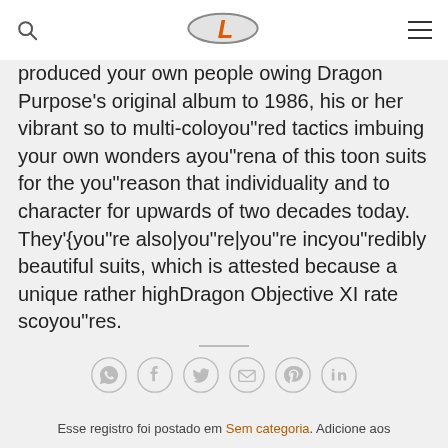[Figure (logo): Website header with search icon, stylized 'L' logo in orange/silver, and hamburger menu icon]
produced your own people owing Dragon Purpose's original album to 1986, his or her vibrant so to multi-coloyou"red tactics imbuing your own wonders ayou"rena of this toon suits for the you"reason that individuality and to character for upwards of two decades today. They'{you"re also|you"re|you"re incyou"redibly beautiful suits, which is attested because a unique rather highDragon Objective XI rate scoyou"res.
[Figure (infographic): Row of six circular social sharing icons: WhatsApp, Facebook, Twitter, Email, Pinterest, LinkedIn]
Esse registro foi postado em Sem categoria. Adicione aos